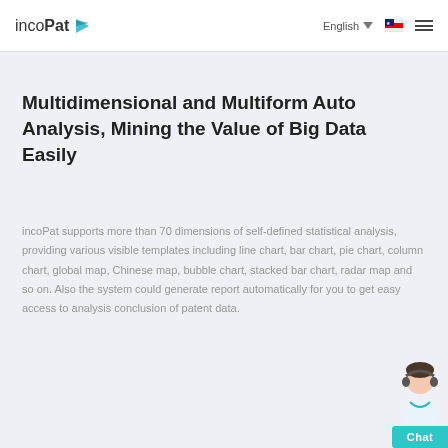inco Pat   English   ☰
Multidimensional and Multiform Auto Analysis, Mining the Value of Big Data Easily
incoPat supports more than 70 dimensions of self-defined statistical analysis, providing various visible templates including line chart, bar chart, pie chart, column chart, global map, Chinese map, bubble chart, stacked bar chart, radar map and so on. Also the system could generate report automatically for you to get easy access to analysis conclusion of patent data.
[Figure (illustration): Customer service chat widget in the bottom-right corner with avatar and teal 'Chat' button]